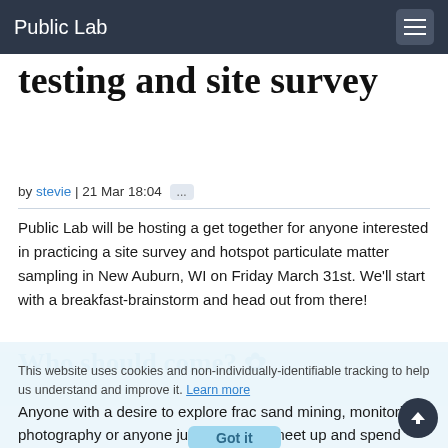Public Lab
testing and site survey
by stevie | 21 Mar 18:04 ...
Public Lab will be hosting a get together for anyone interested in practicing a site survey and hotspot particulate matter sampling in New Auburn, WI on Friday March 31st. We'll start with a breakfast-brainstorm and head out from there!
Who should come?
This website uses cookies and non-individually-identifiable tracking to help us understand and improve it. Learn more
Anyone with a desire to explore frac sand mining, monitoring, photography or anyone just looking to meet up and spend some time hiking around the New Auburn Recreation Area.